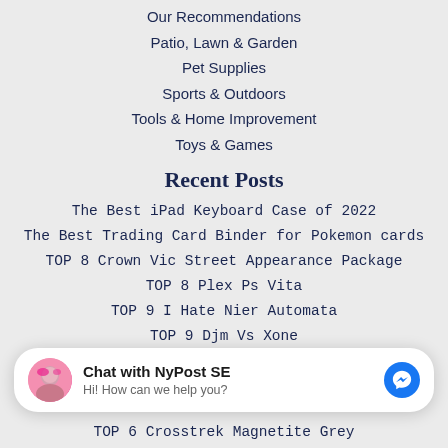Our Recommendations
Patio, Lawn & Garden
Pet Supplies
Sports & Outdoors
Tools & Home Improvement
Toys & Games
Recent Posts
The Best iPad Keyboard Case of 2022
The Best Trading Card Binder for Pokemon cards
TOP 8 Crown Vic Street Appearance Package
TOP 8 Plex Ps Vita
TOP 9 I Hate Nier Automata
TOP 9 Djm Vs Xone
TOP 7 Bladee Iceberg
TOP 7 Chris Is That A Weed Vine Guy
[Figure (other): Facebook Messenger chat widget: avatar of a woman with pink hair, text 'Chat with NyPost SE' and 'Hi! How can we help you?', with a blue Messenger icon on the right.]
TOP 6 Crosstrek Magnetite Grey